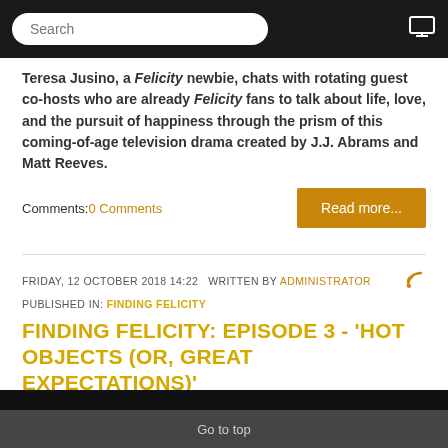Search
Teresa Jusino, a Felicity newbie, chats with rotating guest co-hosts who are already Felicity fans to talk about life, love, and the pursuit of happiness through the prism of this coming-of-age television drama created by J.J. Abrams and Matt Reeves.
Comments: 0 Comments
FRIDAY, 12 OCTOBER 2018 14:22   WRITTEN BY ADMINISTRATOR
PUBLISHED IN: FINDING FELICITY
FINDING FELICITY: EPISODE 3 - 'HOT OBJECTS (OR, GREAT EXPECTATIONS)'